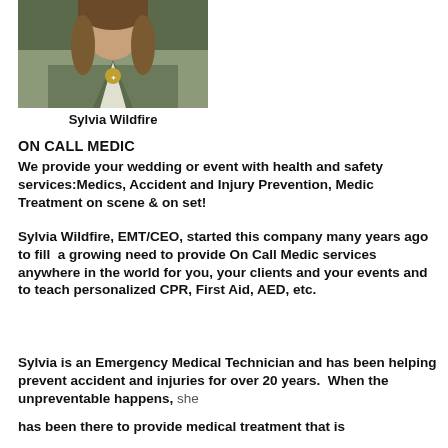[Figure (photo): A woman wearing a green/olive vest with a badge necklace, photo cropped at upper body]
Sylvia Wildfire
ON CALL MEDIC
We provide your wedding or event with health and safety services:Medics, Accident and Injury Prevention, Medic Treatment on scene & on set!
Sylvia Wildfire, EMT/CEO, started this company many years ago to fill  a growing need to provide On Call Medic services anywhere in the world for you, your clients and your events and to teach personalized CPR, First Aid, AED, etc.
Sylvia is an Emergency Medical Technician and has been helping prevent accident and injuries for over 20 years.  When the unpreventable happens, she has been there to provide medical treatment that is